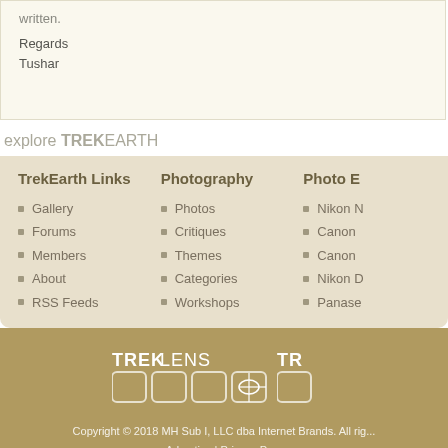written.
Regards
Tushar
explore TREKEARTH
TrekEarth Links
Gallery
Forums
Members
About
RSS Feeds
Photography
Photos
Critiques
Themes
Categories
Workshops
Photo E
Nikon
Canon
Canon
Nikon
Panase
[Figure (logo): TREKLENS logo with grid of icons]
[Figure (logo): TR logo with icon]
Copyright © 2018 MH Sub I, LLC dba Internet Brands. All rights reserved.
Advertise | Privacy Po...